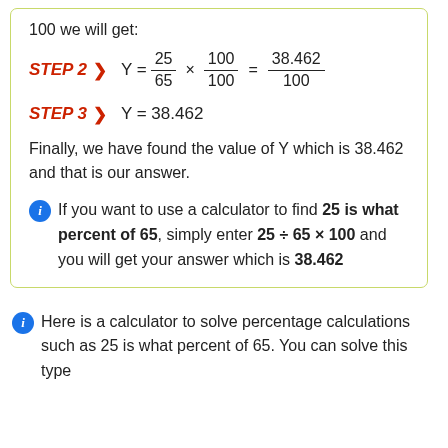100 we will get:
Finally, we have found the value of Y which is 38.462 and that is our answer.
If you want to use a calculator to find 25 is what percent of 65, simply enter 25 ÷ 65 × 100 and you will get your answer which is 38.462
Here is a calculator to solve percentage calculations such as 25 is what percent of 65. You can solve this type